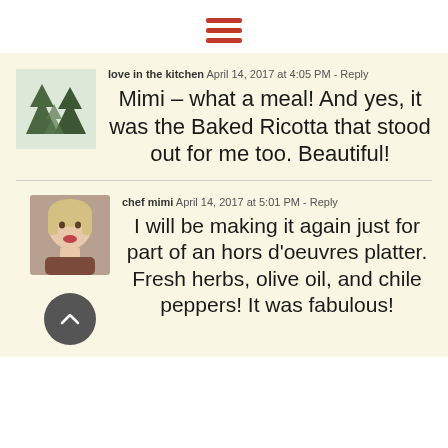[Figure (illustration): Hamburger menu icon with three horizontal red bars centered at the top of the page]
love in the kitchen  April 14, 2017 at 4:05 PM - Reply
Mimi – what a meal! And yes, it was the Baked Ricotta that stood out for me too. Beautiful!
chef mimi  April 14, 2017 at 5:01 PM - Reply
I will be making it again just for part of an hors d'oeuvres platter. Fresh herbs, olive oil, and chile peppers! It was fabulous!